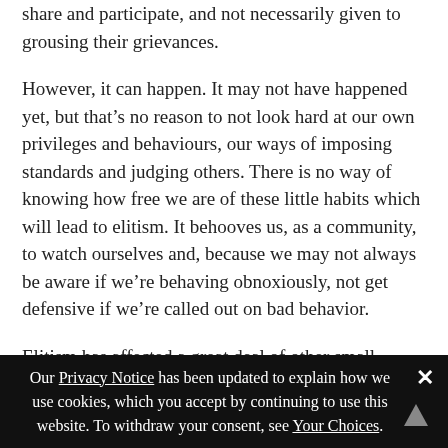share and participate, and not necessarily given to grousing their grievances.
However, it can happen. It may not have happened yet, but that’s no reason to not look hard at our own privileges and behaviours, our ways of imposing standards and judging others. There is no way of knowing how free we are of these little habits which will lead to elitism. It behooves us, as a community, to watch ourselves and, because we may not always be aware if we’re behaving obnoxiously, not get defensive if we’re called out on bad behavior.
Elitism has affected a great deal of other small communities—from calling for higher standards of
Our Privacy Notice has been updated to explain how we use cookies, which you accept by continuing to use this website. To withdraw your consent, see Your Choices.